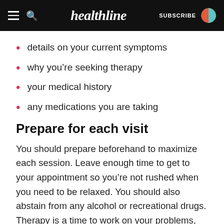healthline — SUBSCRIBE
details on your current symptoms
why you're seeking therapy
your medical history
any medications you are taking
Prepare for each visit
You should prepare beforehand to maximize each session. Leave enough time to get to your appointment so you're not rushed when you need to be relaxed. You should also abstain from any alcohol or recreational drugs. Therapy is a time to work on your problems, not to self-medicate your way through